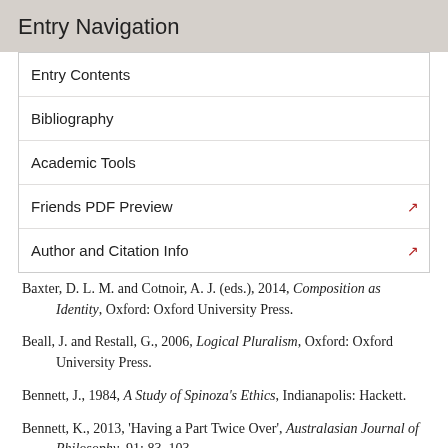Entry Navigation
Entry Contents
Bibliography
Academic Tools
Friends PDF Preview
Author and Citation Info
Baxter, D. L. M. and Cotnoir, A. J. (eds.), 2014, Composition as Identity, Oxford: Oxford University Press.
Beall, J. and Restall, G., 2006, Logical Pluralism, Oxford: Oxford University Press.
Bennett, J., 1984, A Study of Spinoza's Ethics, Indianapolis: Hackett.
Bennett, K., 2013, 'Having a Part Twice Over', Australasian Journal of Philosophy, 91: 83–103.
Berto, F. and M. Carrara, 2009, 'To Exist and to Count: a